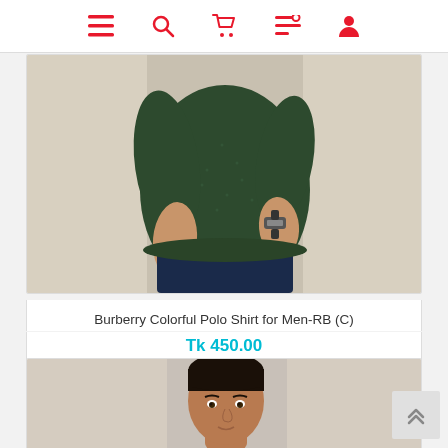[Figure (screenshot): Navigation bar with hamburger menu, search, cart, filter, and profile icons in red]
[Figure (photo): Man wearing a dark green textured polo shirt with dark shorts and a watch, shown from chest down]
Burberry Colorful Polo Shirt for Men-RB (C)
Tk 450.00
[Figure (photo): Man's head and upper body visible, wearing a shirt, second product listing]